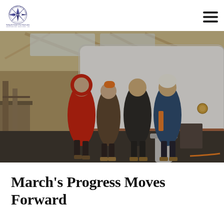Drummond Island Tall Ship Company — Sailing the Dream in the Great Lakes — Crinoson Jones Janet · Opalup Matthieu · Aiden
[Figure (photo): Four people standing in front of a large white ship hull inside a wooden-framed boatbuilding workshop. The person on the left wears a bright red jacket with a hood; the second wears an orange beanie and brown jacket; the third stands center in dark clothes; the fourth wears a white winter hat and blue/orange jacket. Wood framing and scaffolding are visible above.]
March's Progress Moves Forward